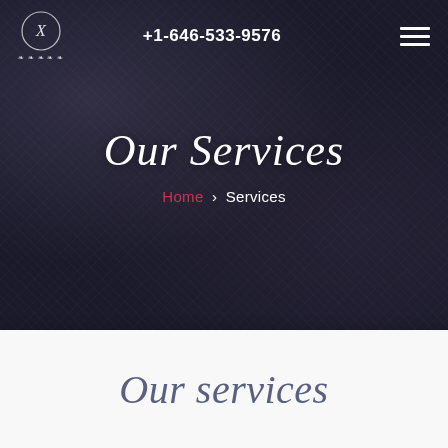[Figure (logo): Circular ornate logo with letter X and decorative flourishes below]
+1-646-533-9576
Our Services
Home › Services
Our services